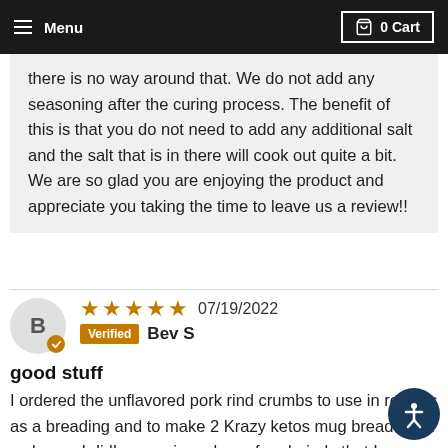Menu  0 Cart
there is no way around that. We do not add any seasoning after the curing process. The benefit of this is that you do not need to add any additional salt and the salt that is in there will cook out quite a bit. We are so glad you are enjoying the product and appreciate you taking the time to leave us a review!!
★★★★★ 07/19/2022  Verified Bev S
good stuff
I ordered the unflavored pork rind crumbs to use in recipes as a breading and to make 2 Krazy ketos mug bread. I am so happy I did! was using a bag of pork rinds that I crushed in my cheapy food processor and I couldn't get it fine enough and it clumped up into a greasy mess that was hard to